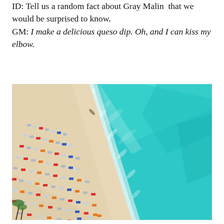ID: Tell us a random fact about Gray Malin that we would be surprised to know. GM: I make a delicious queso dip. Oh, and I can kiss my elbow.
[Figure (photo): Aerial view of a beach with turquoise ocean water on the right and sandy shore with rows of colorful beach chairs and umbrellas on the left, photographed from above.]